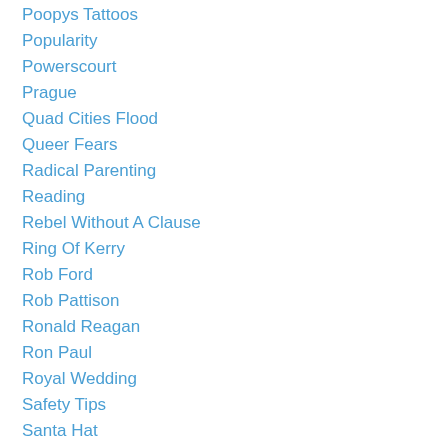Poopys Tattoos
Popularity
Powerscourt
Prague
Quad Cities Flood
Queer Fears
Radical Parenting
Reading
Rebel Without A Clause
Ring Of Kerry
Rob Ford
Rob Pattison
Ronald Reagan
Ron Paul
Royal Wedding
Safety Tips
Santa Hat
Saving Face
Scarf Into Vest
Scary
Selena Gomez